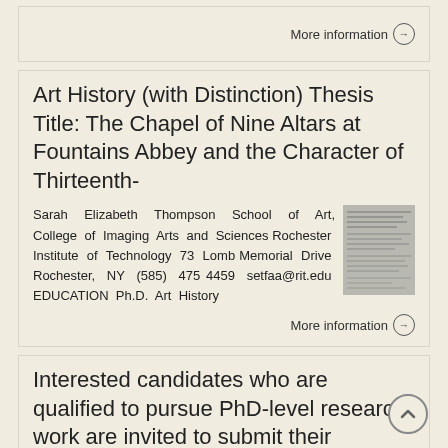More information →
Art History (with Distinction) Thesis Title: The Chapel of Nine Altars at Fountains Abbey and the Character of Thirteenth-
Sarah Elizabeth Thompson School of Art, College of Imaging Arts and Sciences Rochester Institute of Technology 73 Lomb Memorial Drive Rochester, NY (585) 475 4459 setfaa@rit.edu EDUCATION Ph.D. Art History
More information →
Interested candidates who are qualified to pursue PhD-level research work are invited to submit their applications before
Call for PhDs November 2018 CALL FOR PHD PROPOSALS Under the auspices of the